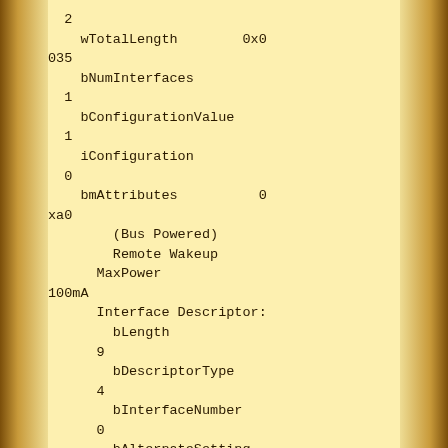2
    wTotalLength        0x0
035
    bNumInterfaces
  1
    bConfigurationValue
  1
    iConfiguration
  0
    bmAttributes          0
xa0
        (Bus Powered)
        Remote Wakeup
      MaxPower
100mA
      Interface Descriptor:
        bLength
      9
        bDescriptorType
      4
        bInterfaceNumber
      0
        bAlternateSetting
      0
        bNumEndpoints
      5
        bInterfaceClass
  255 Vendor Specific Cla